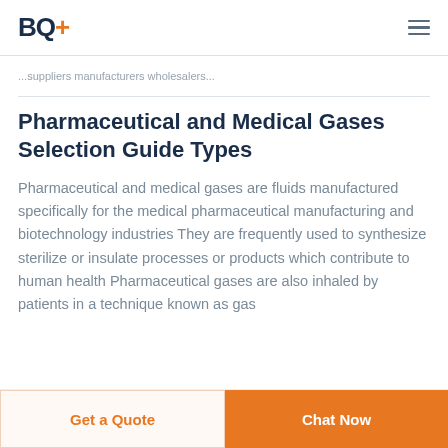BQ+
...suppliers manufacturers wholesalers...
Pharmaceutical and Medical Gases Selection Guide Types
Pharmaceutical and medical gases are fluids manufactured specifically for the medical pharmaceutical manufacturing and biotechnology industries They are frequently used to synthesize sterilize or insulate processes or products which contribute to human health Pharmaceutical gases are also inhaled by patients in a technique known as gas
Get a Quote | Chat Now